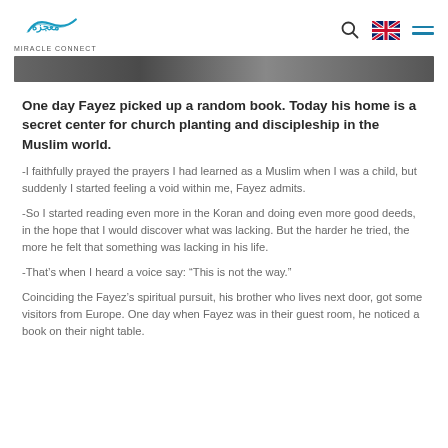Miracle Connect
[Figure (photo): Partial top image of a scene, dark tones, cropped at top of content area]
One day Fayez picked up a random book. Today his home is a secret center for church planting and discipleship in the Muslim world.
-I faithfully prayed the prayers I had learned as a Muslim when I was a child, but suddenly I started feeling a void within me, Fayez admits.
-So I started reading even more in the Koran and doing even more good deeds, in the hope that I would discover what was lacking. But the harder he tried, the more he felt that something was lacking in his life.
-That's when I heard a voice say: “This is not the way.”
Coinciding the Fayez’s spiritual pursuit, his brother who lives next door, got some visitors from Europe. One day when Fayez was in their guest room, he noticed a book on their night table.